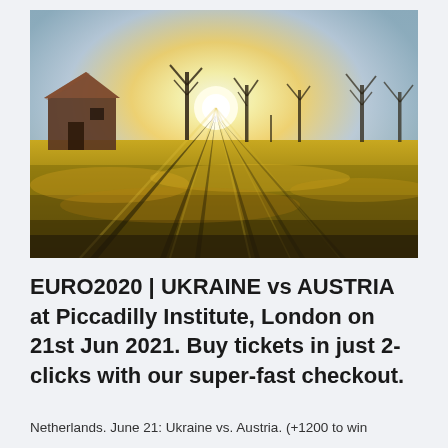[Figure (photo): Outdoor landscape photo showing a golden-hour scene: a rustic barn on the left with bare trees, bright sun low on the horizon casting long shadows across a grassy field.]
EURO2020 | UKRAINE vs AUSTRIA at Piccadilly Institute, London on 21st Jun 2021. Buy tickets in just 2-clicks with our super-fast checkout.
Netherlands. June 21: Ukraine vs. Austria. (+1200 to win